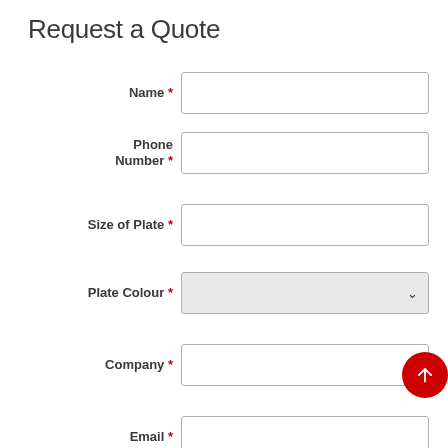Request a Quote
Name *
Phone Number *
Size of Plate *
Plate Colour *
Company *
Email *